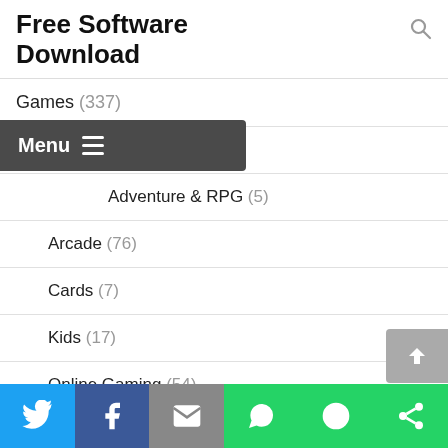Free Software Download
Games (337)
Action (28)
Adventure & RPG (5)
Arcade (76)
Cards (7)
Kids (17)
Online Gaming (54)
[Figure (screenshot): Mobile app share bar with Twitter, Facebook, Email, WhatsApp, SMS, and Other share buttons]